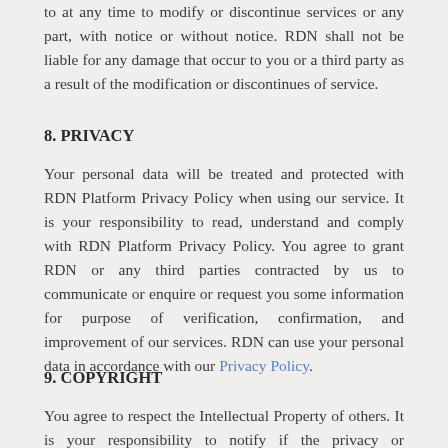to at any time to modify or discontinue services or any part, with notice or without notice. RDN shall not be liable for any damage that occur to you or a third party as a result of the modification or discontinues of service.
8. PRIVACY
Your personal data will be treated and protected with RDN Platform Privacy Policy when using our service. It is your responsibility to read, understand and comply with RDN Platform Privacy Policy. You agree to grant RDN or any third parties contracted by us to communicate or enquire or request you some information for purpose of verification, confirmation, and improvement of our services. RDN can use your personal data in accordance with our Privacy Policy.
9. COPYRIGHT
You agree to respect the Intellectual Property of others. It is your responsibility to notify if the privacy or infringement of